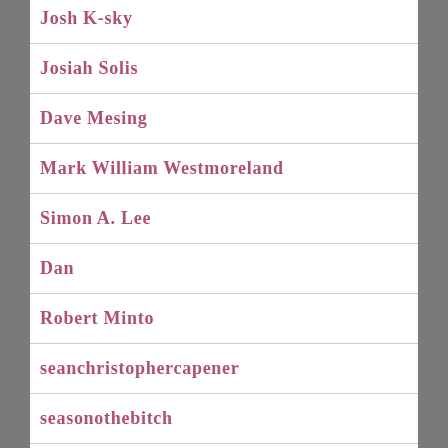Josh K-sky
Josiah Solis
Dave Mesing
Mark William Westmoreland
Simon A. Lee
Dan
Robert Minto
seanchristophercapener
seasonothebitch
selimk
jms